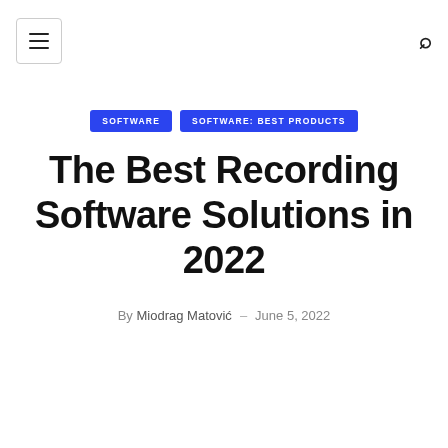Menu | Search
SOFTWARE   SOFTWARE: BEST PRODUCTS
The Best Recording Software Solutions in 2022
By Miodrag Matović  –  June 5, 2022